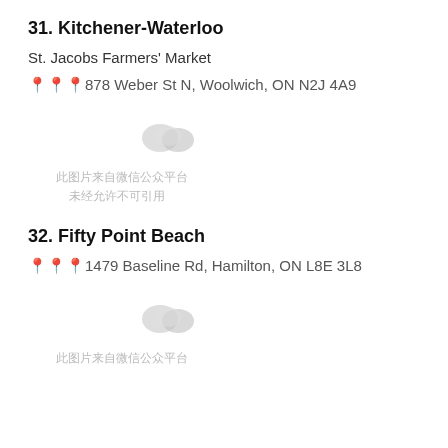31. Kitchener-Waterloo
St. Jacobs Farmers' Market
📍878 Weber St N, Woolwich, ON N2J 4A9
[Figure (photo): Small greyed-out image placeholder with WeChat watermark notice]
此图片来自微信公众平台
未经允许不可引用
32. Fifty Point Beach
📍1479 Baseline Rd, Hamilton, ON L8E 3L8
[Figure (photo): Small greyed-out image placeholder with WeChat watermark notice]
此图片来自微信公众平台